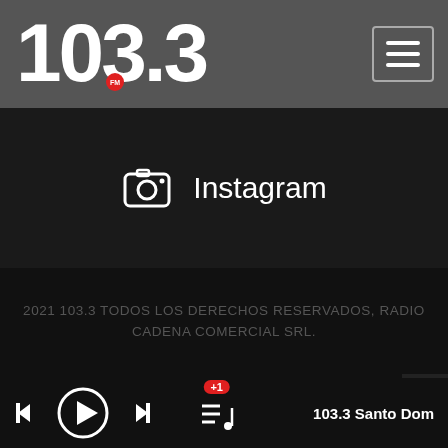[Figure (logo): 103.3 FM radio station logo in white bold text on gray header bar, with a small red FM badge, and a hamburger menu button on the right]
Instagram
2021 103.3 TODOS LOS DERECHOS RESERVADOS, RADIO CADENA COMERCIAL SRL.
103.3 Santo Dom